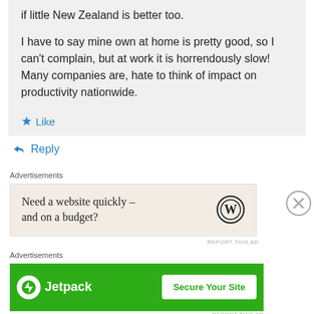if little New Zealand is better too.

I have to say mine own at home is pretty good, so I can't complain, but at work it is horrendously slow! Many companies are, hate to think of impact on productivity nationwide.
★ Like
↳ Reply
Advertisements
[Figure (screenshot): WordPress advertisement: 'Need a website quickly – and on a budget?' with WordPress logo]
REPORT THIS AD
Advertisements
[Figure (screenshot): Jetpack advertisement with green background, Jetpack logo and 'Secure Your Site' button]